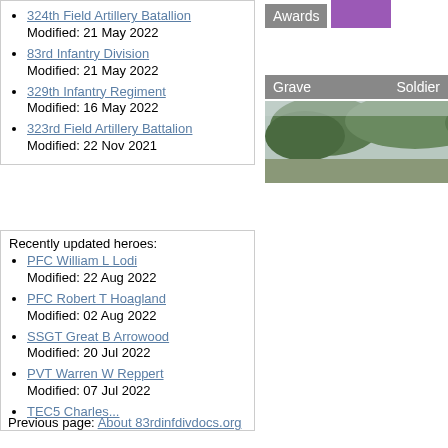324th Field Artillery Batallion
Modified: 21 May 2022
83rd Infantry Division
Modified: 21 May 2022
329th Infantry Regiment
Modified: 16 May 2022
323rd Field Artillery Battalion
Modified: 22 Nov 2021
Awards
[Figure (photo): Purple Heart ribbon/award icon]
Grave
Soldier
[Figure (photo): Grave site photo showing trees and a white grave marker]
Recently updated heroes:
PFC William L Lodi
Modified: 22 Aug 2022
PFC Robert T Hoagland
Modified: 02 Aug 2022
SSGT Great B Arrowood
Modified: 20 Jul 2022
PVT Warren W Reppert
Modified: 07 Jul 2022
TEC5 Charles...
Previous page: About 83rdinfdivdocs.org